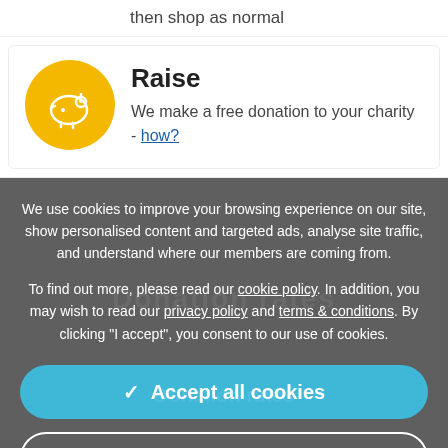then shop as normal
Raise
We make a free donation to your charity - how?
We use cookies to improve your browsing experience on our site, show personalised content and targeted ads, analyse site traffic, and understand where our members are coming from.
To find out more, please read our cookie policy. In addition, you may wish to read our privacy policy and terms & conditions. By clicking "I accept", you consent to our use of cookies.
✓ Accept all cookies
⚙ Manage settings